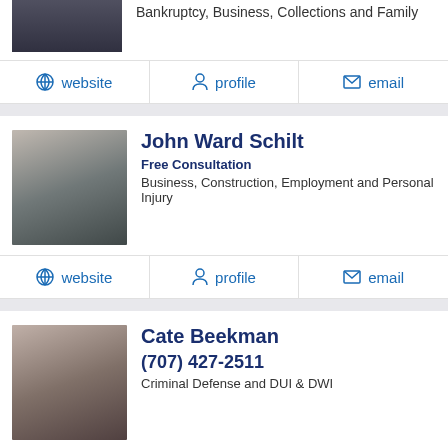Bankruptcy, Business, Collections and Family
website  profile  email
John Ward Schilt
Free Consultation
Business, Construction, Employment and Personal Injury
website  profile  email
Cate Beekman
(707) 427-2511
Criminal Defense and DUI & DWI
website  profile  email